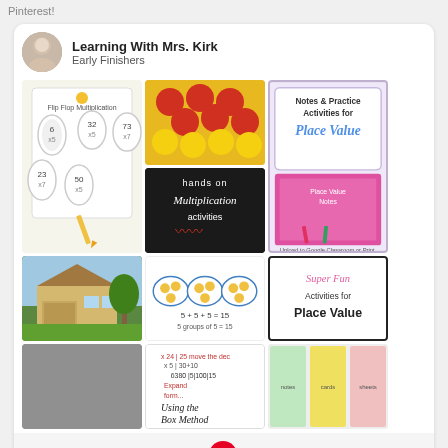Pinterest!
[Figure (screenshot): Pinterest board widget for 'Learning With Mrs. Kirk - Early Finishers' showing a grid of educational activity thumbnails including multiplication worksheets, place value activities, and hands-on math activities. Includes a 'Follow On Pinterest' button at the bottom.]